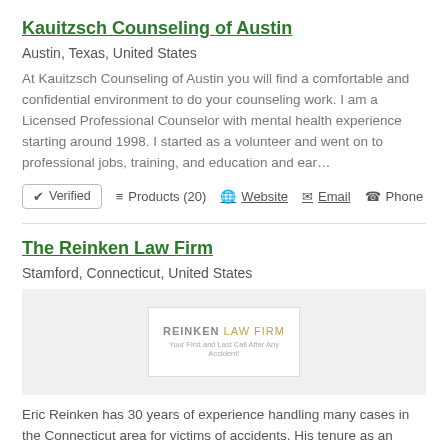Kauitzsch Counseling of Austin
Austin, Texas, United States
At Kauitzsch Counseling of Austin you will find a comfortable and confidential environment to do your counseling work. I am a Licensed Professional Counselor with mental health experience starting around 1998. I started as a volunteer and went on to professional jobs, training, and education and ear…
✔ Verified   ≡ Products (20)   🌐 Website   ✉ Email   ☎ Phone
The Reinken Law Firm
Stamford, Connecticut, United States
[Figure (logo): Reinken Law Firm logo with tagline 'Your First and Last Call After Any Accident!']
Eric Reinken has 30 years of experience handling many cases in the Connecticut area for victims of accidents. His tenure as an assistant city attorney for Greenwich informed his perspective on how to represent his clients in fights against insurance companies. He